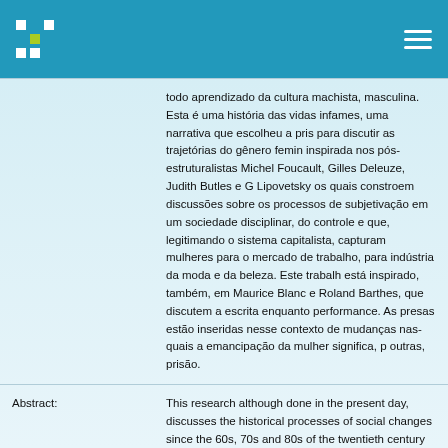todo aprendizado da cultura machista, masculina. Esta é uma história das vidas infames, uma narrativa que escolheu a prisão para discutir as trajetórias do gênero feminino inspirada nos pós-estruturalistas Michel Foucault, Gilles Deleuze, Judith Butles e G. Lipovetsky os quais constroem discussões sobre os processos de subjetivação em uma sociedade disciplinar, do controle e que, legitimando o sistema capitalista, capturam mulheres para o mercado de trabalho, para a indústria da moda e da beleza. Este trabalho está inspirado, também, em Maurice Blanchot e Roland Barthes, que discutem a escrita enquanto performance. As presas estão inseridas nesse contexto de mudanças nas quais a emancipação da mulher significa, para outras, prisão.
Abstract: This research although done in the present day, discusses the historical processes of social changes since the 60s, 70s and 80s of the twentieth century about the place of women from the feminist movement in the